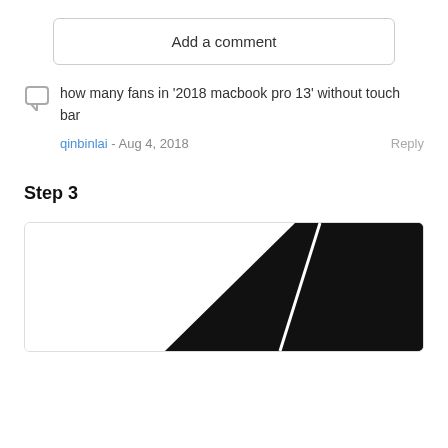Add a comment
how many fans in '2018 macbook pro 13' without touch bar
qinbinlai - Aug 4, 2018   Reply
Step 3
[Figure (photo): Close-up photograph of a dark-colored MacBook Pro component, showing black hardware surfaces with a white dividing line, partially cropped.]